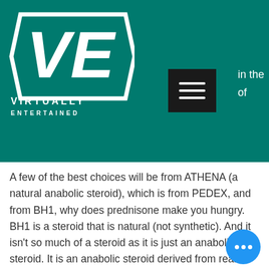[Figure (logo): Virtually Entertained logo — white VE letters in a stylized arrow/chevron shape on teal background, with 'VIRTUALLY ENTERTAINED' text below]
in the of
A few of the best choices will be from ATHENA (a natural anabolic steroid), which is from PEDEX, and from BH1, why does prednisone make you hungry. BH1 is a steroid that is natural (not synthetic). And it isn't so much of a steroid as it is just an anabolic steroid. It is an anabolic steroid derived from real anabolic steroids, deca durabolin apteka0.
And then you have some of the lesser known options, fat steroids make anabolic you. You will see here from Dr, deca durabolin apteka2. Breen,